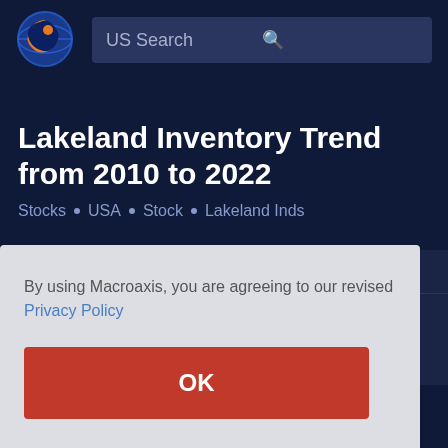[Figure (logo): Macroaxis globe logo with orange and blue colors]
US Search
Lakeland Inventory Trend from 2010 to 2022
Stocks . USA . Stock . Lakeland Inds
By using Macroaxis, you are agreeing to our revised Privacy Policy
OK